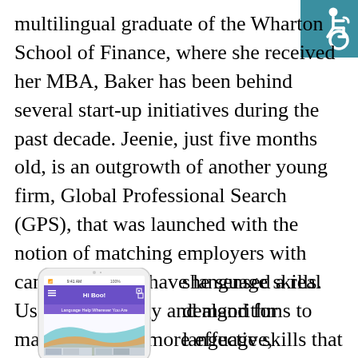[Figure (other): Accessibility wheelchair symbol icon on teal/dark cyan background, top-right corner]
multilingual graduate of the Wharton School of Finance, where she received her MBA, Baker has been behind several start-up initiatives during the past decade. Jeenie, just five months old, is an outgrowth of another young firm, Global Professional Search (GPS), that was launched with the notion of matching employers with candidates who have language skills. Using technology and algorithms to make matching more effective,
[Figure (screenshot): Screenshot of a smartphone app showing a purple header with 'Hi Boo!' text and 'Language Help Wherever You Are' subtitle, with colorful wave graphics at the bottom]
she sensed a real demand for language skills that could be addressed “every day in the palm of the hand.”